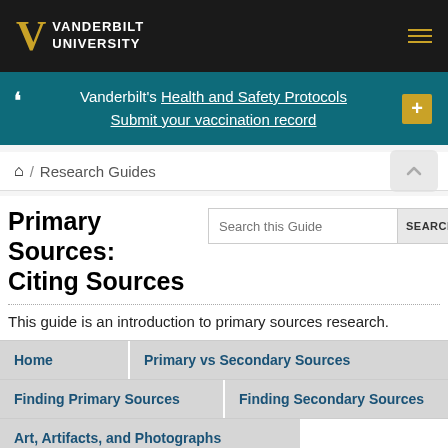[Figure (logo): Vanderbilt University logo with gold V and white text on black background]
Vanderbilt's Health and Safety Protocols
Submit your vaccination record
Research Guides
Primary Sources: Citing Sources
This guide is an introduction to primary sources research.
Home
Primary vs Secondary Sources
Finding Primary Sources
Finding Secondary Sources
Art, Artifacts, and Photographs
Searching Library Catalog
Searching WorldCat
Searching Online...
Reading Old Handwriting